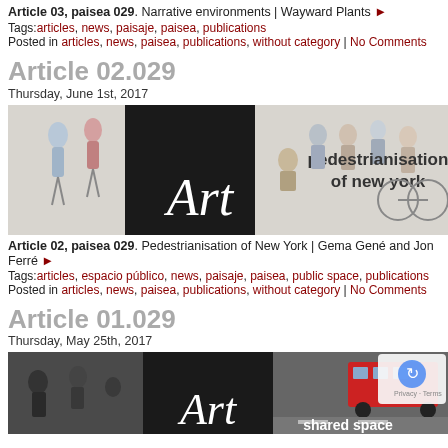Article 03, paisea 029. Narrative environments | Wayward Plants ▶
Tags: articles, news, paisaje, paisea, publications
Posted in articles, news, paisea, publications, without category | No Comments
Article 02.029
Thursday, June 1st, 2017
[Figure (illustration): Sketch illustration of pedestrians in a city street with text 'pedestrianisation of new york' and an 'Art' logo block]
Article 02, paisea 029. Pedestrianisation of New York | Gema Gené and Jon Ferré ▶
Tags: articles, espacio público, news, paisaje, paisea, public space, publications
Posted in articles, news, paisea, publications, without category | No Comments
Article 01.029
Thursday, May 25th, 2017
[Figure (photo): Street photo showing buses and people with 'shared space' text overlay and 'Art' logo block]